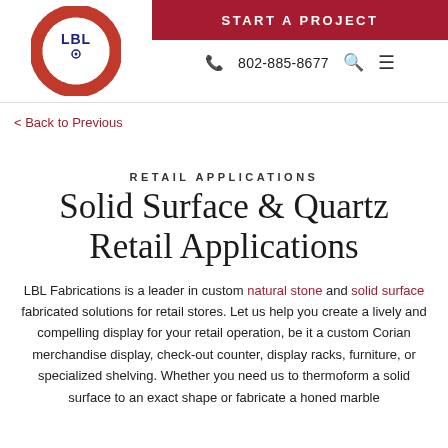START A PROJECT | 802-885-8677
< Back to Previous
RETAIL APPLICATIONS
Solid Surface & Quartz Retail Applications
LBL Fabrications is a leader in custom natural stone and solid surface fabricated solutions for retail stores. Let us help you create a lively and compelling display for your retail operation, be it a custom Corian merchandise display, check-out counter, display racks, furniture, or specialized shelving. Whether you need us to thermoform a solid surface to an exact shape or fabricate a honed marble